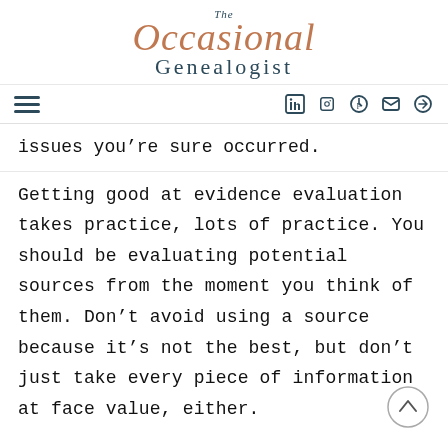The Occasional Genealogist
issues you’re sure occurred.
Getting good at evidence evaluation takes practice, lots of practice. You should be evaluating potential sources from the moment you think of them. Don’t avoid using a source because it’s not the best, but don’t just take every piece of information at face value, either.